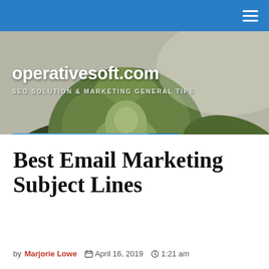operativesoft.com navigation bar with hamburger menu
[Figure (photo): Close-up photo of a succulent plant with green fleshy leaves, serving as the website banner background. Overlaid text reads 'operativesoft.com' and 'SEO SOLUTION & MARKETING GENERAL TIPS' with a search bar.]
Menu
Best Email Marketing Subject Lines
by Marjorie Lowe   April 16, 2019   1:21 am